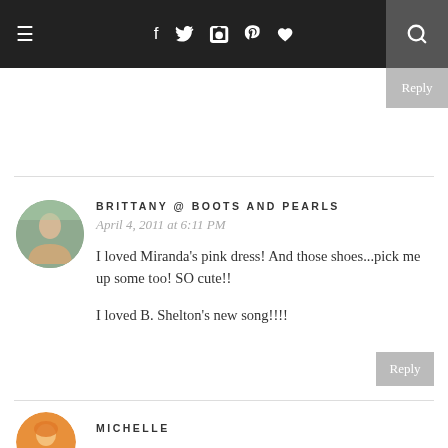≡  f  Twitter  Instagram  Pinterest  ♥  🔍
Reply
BRITTANY @ BOOTS AND PEARLS
April 4, 2011 at 6:11 PM

I loved Miranda's pink dress! And those shoes...pick me up some too! SO cute!!

I loved B. Shelton's new song!!!!
Reply
MICHELLE